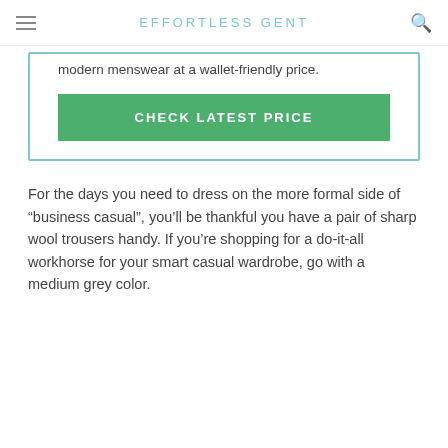EFFORTLESS GENT
modern menswear at a wallet-friendly price.
CHECK LATEST PRICE
For the days you need to dress on the more formal side of “business casual”, you’ll be thankful you have a pair of sharp wool trousers handy. If you’re shopping for a do-it-all workhorse for your smart casual wardrobe, go with a medium grey color.